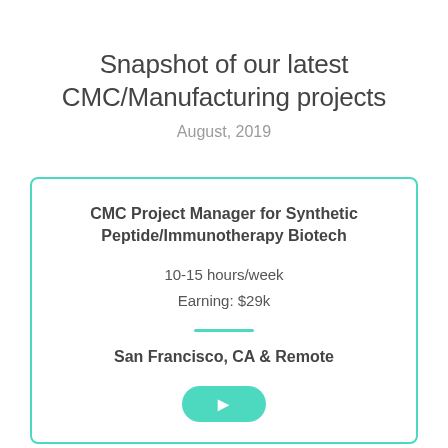Snapshot of our latest CMC/Manufacturing projects
August, 2019
CMC Project Manager for Synthetic Peptide/Immunotherapy Biotech
10-15 hours/week
Earning: $29k
San Francisco, CA & Remote